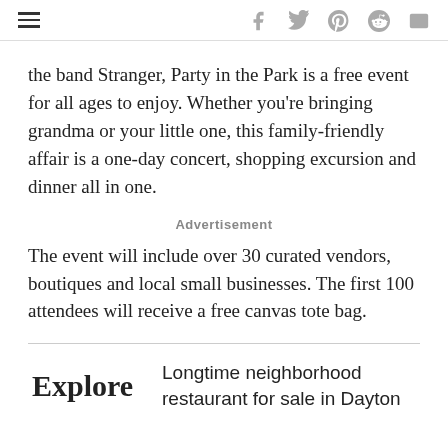hamburger menu | social icons: f, twitter, pinterest, reddit, mail
the band Stranger, Party in the Park is a free event for all ages to enjoy. Whether you're bringing grandma or your little one, this family-friendly affair is a one-day concert, shopping excursion and dinner all in one.
Advertisement
The event will include over 30 curated vendors, boutiques and local small businesses. The first 100 attendees will receive a free canvas tote bag.
Explore  Longtime neighborhood restaurant for sale in Dayton